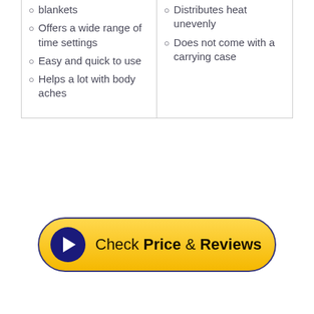blankets
Offers a wide range of time settings
Easy and quick to use
Helps a lot with body aches
Distributes heat unevenly
Does not come with a carrying case
[Figure (other): Yellow CTA button with dark blue border and play icon reading 'Check Price & Reviews']